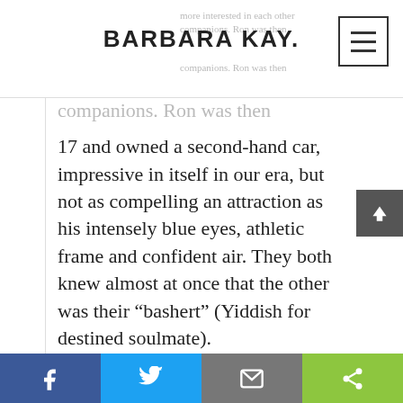BARBARA KAY.
more interested in each other companions. Ron was then 17 and owned a second-hand car, impressive in itself in our era, but not as compelling an attraction as his intensely blue eyes, athletic frame and confident air. They both knew almost at once that the other was their “bashert” (Yiddish for destined soulmate).
The rabbi said Ron was 'woke' to gender equality before it